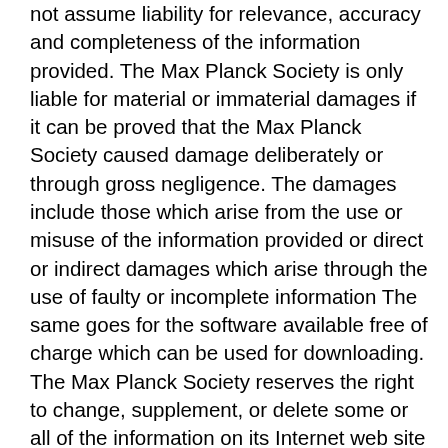not assume liability for relevance, accuracy and completeness of the information provided. The Max Planck Society is only liable for material or immaterial damages if it can be proved that the Max Planck Society caused damage deliberately or through gross negligence. The damages include those which arise from the use or misuse of the information provided or direct or indirect damages which arise through the use of faulty or incomplete information The same goes for the software available free of charge which can be used for downloading. The Max Planck Society reserves the right to change, supplement, or delete some or all of the information on its Internet web site without notice. Similarly, the Society also reserves the right to temporarily or permanently discontinue the Internet web site. Individuals or organisations providing information on the internet are only responsible for illegal and punishable contents derived from other sources which are accessed by direct or indirect connections, e.g. links, if the individuals and organisations are aware of the nature of these contents on these web sites. Contents derived from other sources are noted appropriately. The Max Planck Society has no influence whatsoever on contents derived from another sources and does not promote them. The